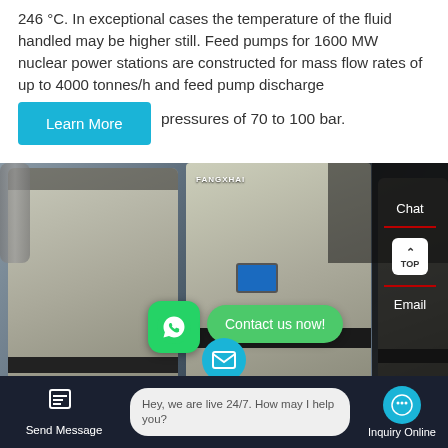246 °C. In exceptional cases the temperature of the fluid handled may be higher still. Feed pumps for 1600 MW nuclear power stations are constructed for mass flow rates of up to 4000 tonnes/h and feed pump discharge pressures of 70 to 100 bar.
[Figure (photo): Industrial machinery/pumps in a factory setting. Large white/beige industrial machines with 'FANGXHAI' branding visible. WhatsApp contact overlay with 'Contact us now!' bubble. Right sidebar with Chat, TOP, Email links.]
Chat
Email
Contact us now!
Hey, we are live 24/7. How may I help you?
Send Message
Inquiry Online